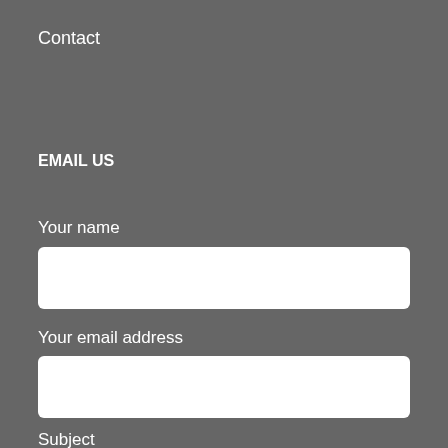Contact
EMAIL US
Your name
[Figure (other): Text input field for 'Your name']
Your email address
[Figure (other): Text input field for 'Your email address']
Subject
[Figure (other): Text input field for 'Subject']